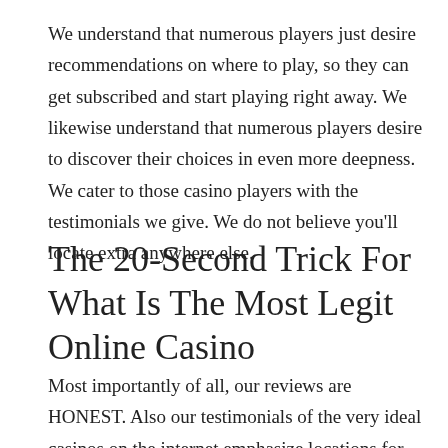We understand that numerous players just desire recommendations on where to play, so they can get subscribed and start playing right away. We likewise understand that numerous players desire to discover their choices in even more deepness. We cater to those casino players with the testimonials we give. We do not believe you'll locate extra anywhere else.
The 20-Second Trick For What Is The Most Legit Online Casino
Most importantly of all, our reviews are HONEST. Also our testimonials of the very ideal casinos on the internet emphasize locations for enhancement